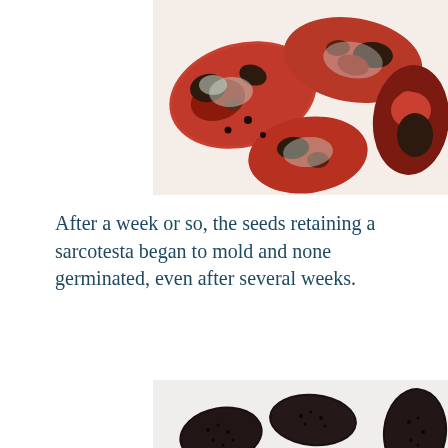[Figure (photo): Close-up photograph of several seeds with red and black mottled sarcotesta (fleshy seed coat) showing signs of mold, placed on a white surface.]
After a week or so, the seeds retaining a sarcotesta began to mold and none germinated, even after several weeks.
[Figure (photo): Close-up photograph of multiple dark brown/black ovoid seeds with pitted texture (sclerotesta), arranged on a white surface.]